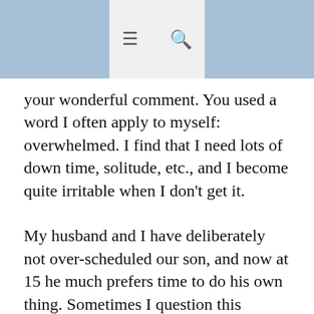≡  🔍
your wonderful comment. You used a word I often apply to myself: overwhelmed. I find that I need lots of down time, solitude, etc., and I become quite irritable when I don't get it.

My husband and I have deliberately not over-scheduled our son, and now at 15 he much prefers time to do his own thing. Sometimes I question this policy--is he missing out?